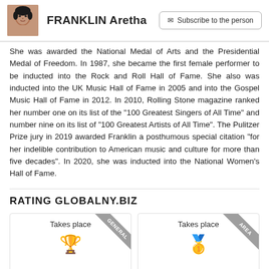FRANKLIN Aretha  |  Subscribe to the person
She was awarded the National Medal of Arts and the Presidential Medal of Freedom. In 1987, she became the first female performer to be inducted into the Rock and Roll Hall of Fame. She also was inducted into the UK Music Hall of Fame in 2005 and into the Gospel Music Hall of Fame in 2012. In 2010, Rolling Stone magazine ranked her number one on its list of the "100 Greatest Singers of All Time" and number nine on its list of "100 Greatest Artists of All Time". The Pulitzer Prize jury in 2019 awarded Franklin a posthumous special citation "for her indelible contribution to American music and culture for more than five decades". In 2020, she was inducted into the National Women's Hall of Fame.
RATING GLOBALNY.BIZ
[Figure (infographic): Two rating cards side by side. Left card: 'Takes place' with a trophy emoji and a grey corner ribbon labeled 'GENERAL'. Right card: 'Takes place' with a medal emoji and a grey corner ribbon labeled 'AREA'.]